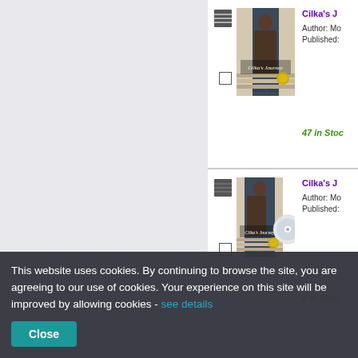[Figure (screenshot): Book listing item 1: Cilka's Journey by Heather Morris. Shows book cover image with a person from behind, book icon, checkbox, author and published fields, 47 in Stock label.]
[Figure (screenshot): Book listing item 2: Cilka's Journey (audiobook/CD edition) by Heather Morris. Shows book cover with CD, book icon, checkbox, author and published fields, stock count partially visible (2 in Stoc...).]
This website uses cookies. By continuing to browse the site, you are agreeing to our use of cookies. Your experience on this site will be improved by allowing cookies - see details